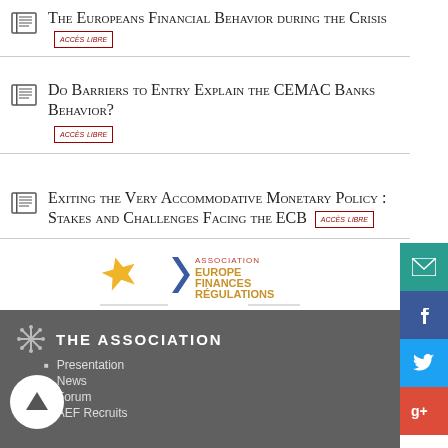The Europeans Financial Behavior during the Crisis — accès libre
Do Barriers to Entry Explain the CEMAC Banks Behavior? — accès libre
Exiting the Very Accommodative Monetary Policy : Stakes and Challenges Facing the ECB — accès libre
[Figure (logo): Association Europe Finances Régulations logo with yellow star and blue chevron]
THE ASSOCIATION
Presentation
News
Forum
AEF Recruits